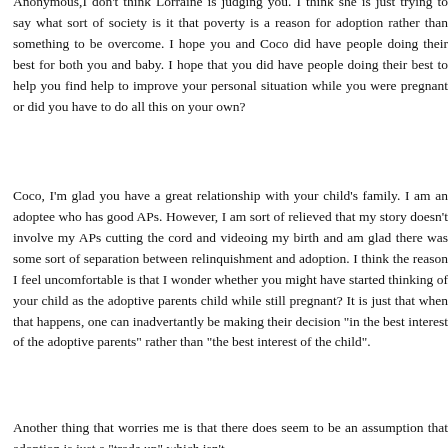Anonymous,I don't think Lorraine is judging you. I think she is just trying to say what sort of society is it that poverty is a reason for adoption rather than something to be overcome. I hope you and Coco did have people doing their best for both you and baby. I hope that you did have people doing their best to help you find help to improve your personal situation while you were pregnant or did you have to do all this on your own?
Coco, I'm glad you have a great relationship with your child's family. I am an adoptee who has good APs. However, I am sort of relieved that my story doesn't involve my APs cutting the cord and videoing my birth and am glad there was some sort of separation between relinquishment and adoption. I think the reason I feel uncomfortable is that I wonder whether you might have started thinking of your child as the adoptive parents child while still pregnant? It is just that when that happens, one can inadvertantly be making their decision "in the best interest of the adoptive parents" rather than "the best interest of the child".
Another thing that worries me is that there does seem to be an assumption that adoption is just a "trade up" which isn't